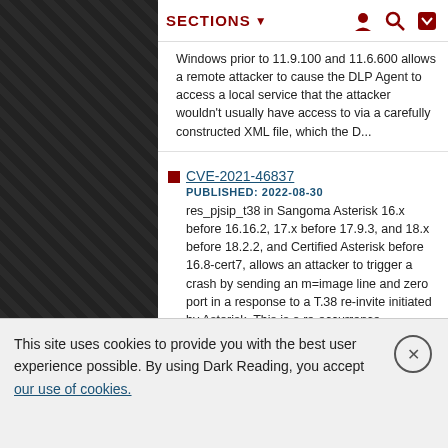SECTIONS
Windows prior to 11.9.100 and 11.6.600 allows a remote attacker to cause the DLP Agent to access a local service that the attacker wouldn't usually have access to via a carefully constructed XML file, which the D...
CVE-2021-46837
PUBLISHED: 2022-08-30
res_pjsip_t38 in Sangoma Asterisk 16.x before 16.16.2, 17.x before 17.9.3, and 18.x before 18.2.2, and Certified Asterisk before 16.8-cert7, allows an attacker to trigger a crash by sending an m=image line and zero port in a response to a T.38 re-invite initiated by Asterisk. This is a re-occurrence...
CVE-2022-38118
PUBLISHED: 2022-08-30
OAKlouds Portal websiteâs Meeting Room has insufficient validation for user input. A remote attacker with general user
This site uses cookies to provide you with the best user experience possible. By using Dark Reading, you accept our use of cookies.